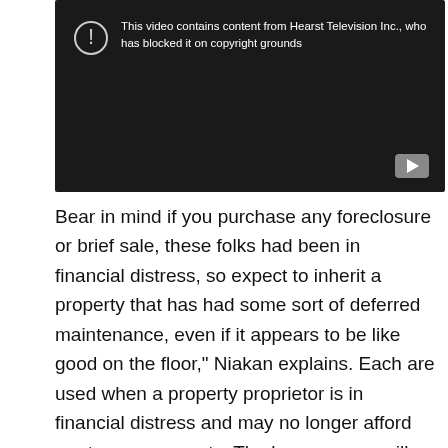[Figure (screenshot): YouTube video blocked screenshot showing a dark player with a warning icon and the message: 'This video contains content from Hearst Television Inc., who has blocked it on copyright grounds'. A YouTube play button icon is visible in the bottom right corner.]
Bear in mind if you purchase any foreclosure or brief sale, these folks had been in financial distress, so expect to inherit a property that has had some sort of deferred maintenance, even if it appears to be like good on the floor," Niakan explains. Each are used when a property proprietor is in financial distress and may no longer afford mortgage payments. The home-owner will receive a Notice of Sale, and this